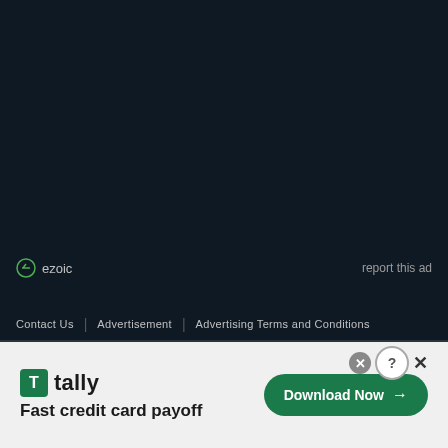[Figure (screenshot): Dark navy background area representing an advertisement placeholder]
ezoic
report this ad
Contact Us | Advertisement | Advertising Terms and Conditions
[Figure (infographic): Tally app advertisement banner: logo and text 'Fast credit card payoff' with a green 'Download Now' button and close controls]